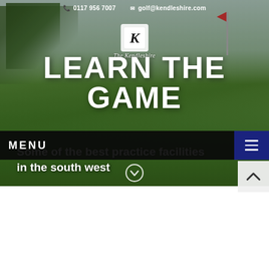0117 956 7007   golf@kendleshire.com
[Figure (photo): Golf course hero image showing green fairway with trees, sky, and a red flag on the right. Dark overlay applied.]
LEARN THE GAME
MENU
Some of the best practice facilities in the south west
[Figure (other): Circular scroll-down chevron icon in white outline]